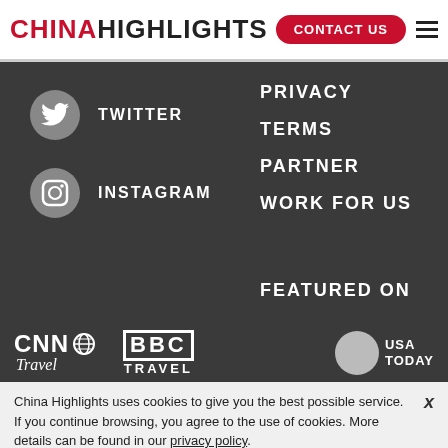CHINAHIGHLIGHTS | CONTACT US
TWITTER
INSTAGRAM
PRIVACY
TERMS
PARTNER
WORK FOR US
FEATURED ON
[Figure (logo): CNN Travel logo - white text on dark background]
[Figure (logo): BBC TRAVEL logo - white text on dark background]
[Figure (logo): USA TODAY logo - white text with circle on dark background]
China Highlights uses cookies to give you the best possible service. If you continue browsing, you agree to the use of cookies. More details can be found in our privacy policy.